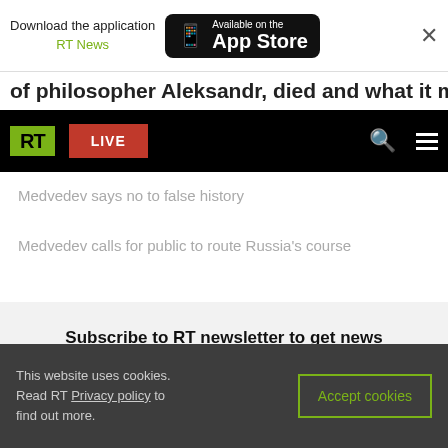[Figure (screenshot): App download banner with RT News and Available on the App Store button]
of philosopher Aleksandr, died and what it means
[Figure (screenshot): RT website navigation bar with RT logo, LIVE button, search icon, and hamburger menu]
Medvedev says no to false history
Medvedev calls for public to route Russia's course
Subscribe to RT newsletter to get news highlights of the day right in your mailbox
This website uses cookies. Read RT Privacy policy to find out more.